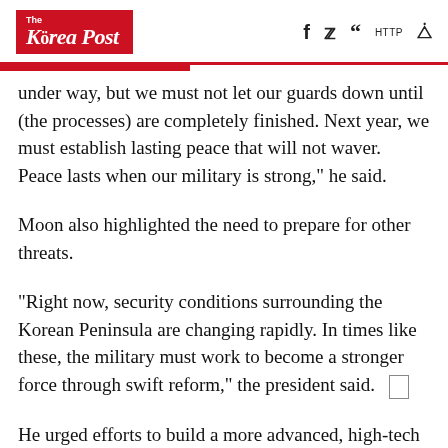The Korea Post
under way, but we must not let our guards down until (the processes) are completely finished. Next year, we must establish lasting peace that will not waver. Peace lasts when our military is strong," he said.
Moon also highlighted the need to prepare for other threats.
"Right now, security conditions surrounding the Korean Peninsula are changing rapidly. In times like these, the military must work to become a stronger force through swift reform," the president said.
He urged efforts to build a more advanced, high-tech